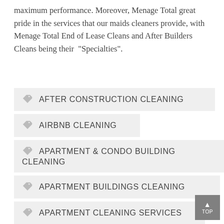maximum performance. Moreover, Menage Total great pride in the services that our maids cleaners provide, with Menage Total End of Lease Cleans and After Builders Cleans being their “Specialties”.
AFTER CONSTRUCTION CLEANING
AIRBNB CLEANING
APARTMENT & CONDO BUILDING CLEANING
APARTMENT BUILDINGS CLEANING
APARTMENT CLEANING SERVICES
BIG CLEANING